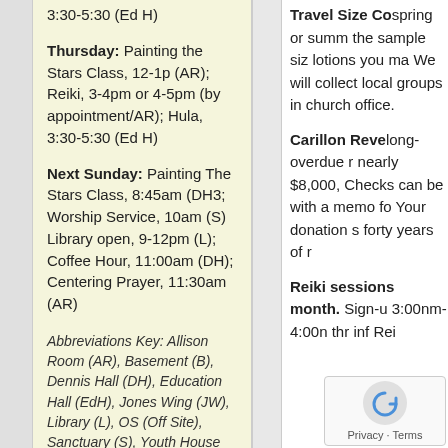3:30-5:30 (Ed H)
Thursday: Painting the Stars Class, 12-1p (AR); Reiki, 3-4pm or 4-5pm (by appointment/AR); Hula, 3:30-5:30 (Ed H)
Next Sunday: Painting The Stars Class, 8:45am (DH3; Worship Service, 10am (S) Library open, 9-12pm (L); Coffee Hour, 11:00am (DH); Centering Prayer, 11:30am (AR)
Abbreviations Key: Allison Room (AR), Basement (B), Dennis Hall (DH), Education Hall (EdH), Jones Wing (JW), Library (L), OS (Off Site), Sanctuary (S), Youth House (YH)
Travel Size Co... spring or summ... the sample siz... lotions you ma... We will collect local groups in church office.
Carillon Revel... long-overdue r... nearly $8,000, Checks can be with a memo fo Your donation s forty years of r...
Reiki sessions... month. Sign-u... 3:00nm-4:00n... thr... inf... Rei...